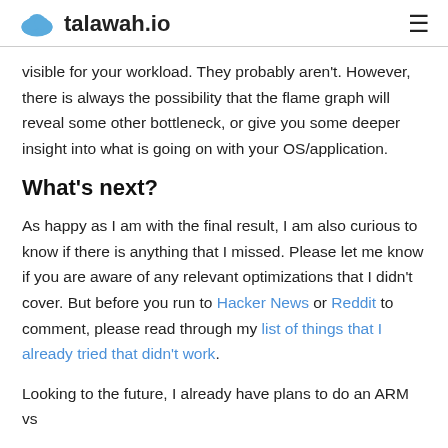talawah.io
visible for your workload. They probably aren't. However, there is always the possibility that the flame graph will reveal some other bottleneck, or give you some deeper insight into what is going on with your OS/application.
What's next?
As happy as I am with the final result, I am also curious to know if there is anything that I missed. Please let me know if you are aware of any relevant optimizations that I didn't cover. But before you run to Hacker News or Reddit to comment, please read through my list of things that I already tried that didn't work.
Looking to the future, I already have plans to do an ARM vs